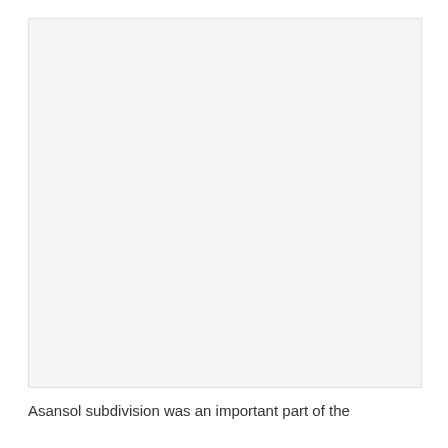[Figure (photo): A mostly blank/white image placeholder occupying the upper portion of the page]
Asansol subdivision was an important part of the